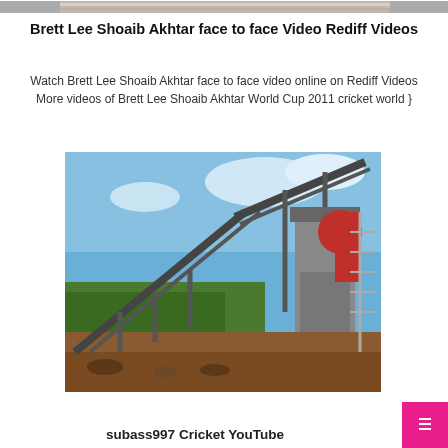[Figure (photo): Top strip image, partially visible]
Brett Lee Shoaib Akhtar face to face Video Rediff Videos
Watch Brett Lee Shoaib Akhtar face to face video online on Rediff Videos More videos of Brett Lee Shoaib Akhtar World Cup 2011 cricket world }
[Figure (photo): Industrial conveyor belt machinery on construction site with blue sky background]
subass997 Cricket YouTube